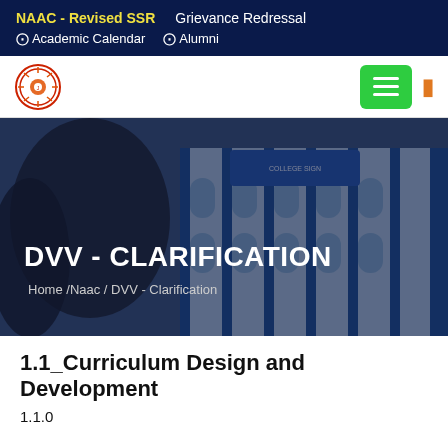NAAC - Revised SSR   Grievance Redressal   ❑ Academic Calendar   ❑ Alumni
[Figure (screenshot): College website header with logo on left and green hamburger menu button and orange search icon on right]
[Figure (photo): Hero banner showing a college building with blue and white exterior, trees in foreground, overlaid with dark blue tint. Text overlay reads DVV - CLARIFICATION with breadcrumb Home /Naac / DVV - Clarification]
1.1_Curriculum Design and Development
1.1.0